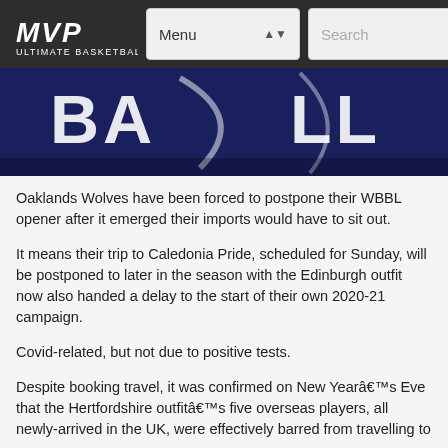MVP Ultimate Basketball | Menu | Search
[Figure (photo): Partial view of a dark navy basketball logo with white text reading BASKETBALL]
Oaklands Wolves have been forced to postpone their WBBL opener after it emerged their imports would have to sit out.
It means their trip to Caledonia Pride, scheduled for Sunday, will be postponed to later in the season with the Edinburgh outfit now also handed a delay to the start of their own 2020-21 campaign.
Covid-related, but not due to positive tests.
Despite booking travel, it was confirmed on New Yearâ€™s Eve that the Hertfordshire outfitâ€™s five overseas players, all newly-arrived in the UK, were effectively barred from travelling to